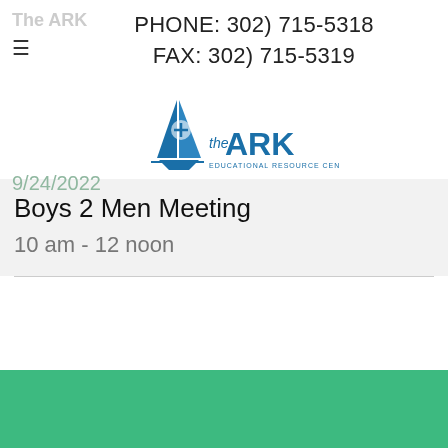The ARK
PHONE: 302) 715-5318
FAX: 302) 715-5319
[Figure (logo): The ARK Educational Resource Center logo with sailboat and cross emblem]
9/24/2022
Boys 2 Men Meeting
10 am - 12 noon
DONATE TO THE ARK
Your support and contributions will